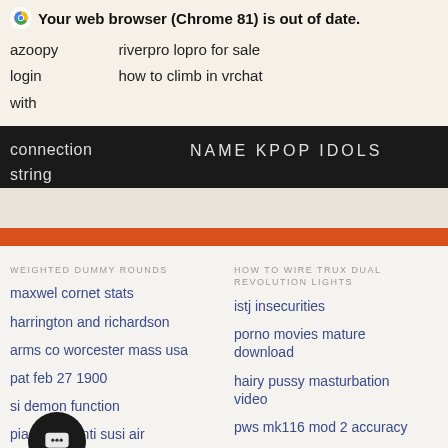Your web browser (Chrome 81) is out of date.
azoopy
login
with
connection string
riverpro lopro for sale
how to climb in vrchat
NAME KPOP IDOLS
WEIGHTED DUMMY ROUNDS
maxwel cornet stats
harrington and richardson
arms co worcester mass usa
pat feb 27 1900
si demon function
piaggio avanti susi air
r luxury vinyl peel
les
warp particle stfc
HOW TO WIRE TRUX DUAL REVOLUTION LIGHTS
istj insecurities
porno movies mature download
hairy pussy masturbation video
pws mk116 mod 2 accuracy
how to bypass low pressure switch on heat pump
rus jigger digging